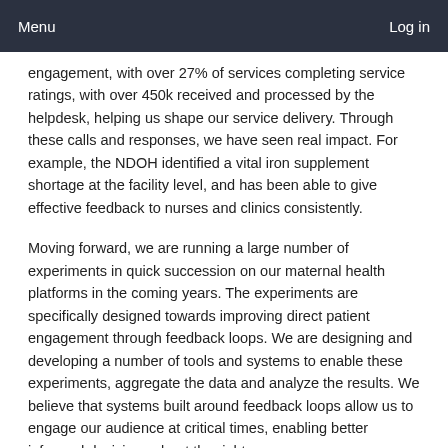Menu    Log in
engagement, with over 27% of services completing service ratings, with over 450k received and processed by the helpdesk, helping us shape our service delivery. Through these calls and responses, we have seen real impact. For example, the NDOH identified a vital iron supplement shortage at the facility level, and has been able to give effective feedback to nurses and clinics consistently.
Moving forward, we are running a large number of experiments in quick succession on our maternal health platforms in the coming years. The experiments are specifically designed towards improving direct patient engagement through feedback loops. We are designing and developing a number of tools and systems to enable these experiments, aggregate the data and analyze the results. We believe that systems built around feedback loops allow us to engage our audience at critical times, enabling better informed decisions about the right